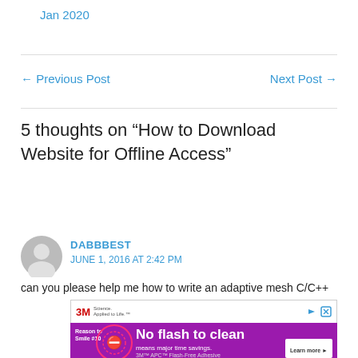Jan 2020
← Previous Post
Next Post →
5 thoughts on “How to Download Website for Offline Access”
DABBBEST
JUNE 1, 2016 AT 2:42 PM
can you please help me how to write an adaptive mesh C/C++
[Figure (other): 3M advertisement banner - No flash to clean means major time savings. 3M APC Flash-Free Adhesive. Learn more button.]